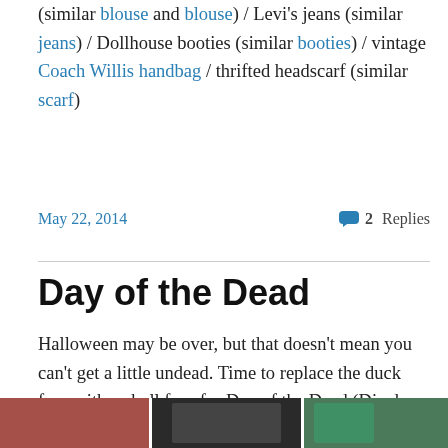(similar blouse and blouse) / Levi's jeans (similar jeans) / Dollhouse booties (similar booties) / vintage Coach Willis handbag / thrifted headscarf (similar scarf)
May 22, 2014
2 Replies
Day of the Dead
Halloween may be over, but that doesn't mean you can't get a little undead. Time to replace the duck face with a skull face for Day of the Dead (Dia de los Muertos).
[Figure (photo): Three photos of Day of the Dead (Dia de los Muertos) themed images: a woman in red dress with skull face paint and flower crown, a woman in elaborate black dress with skull makeup and roses, and two decorative skeleton figurines with colorful hair and accessories.]